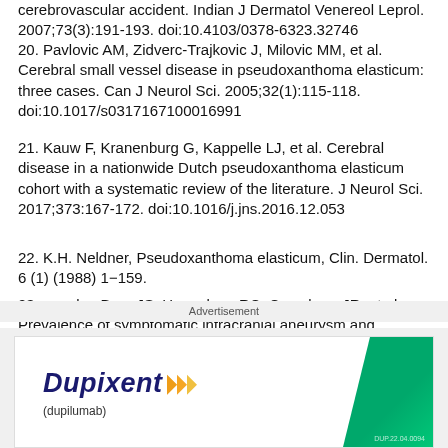cerebrovascular accident. Indian J Dermatol Venereol Leprol. 2007;73(3):191-193. doi:10.4103/0378-6323.32746
20. Pavlovic AM, Zidverc-Trajkovic J, Milovic MM, et al. Cerebral small vessel disease in pseudoxanthoma elasticum: three cases. Can J Neurol Sci. 2005;32(1):115-118. doi:10.1017/s0317167100016991
21. Kauw F, Kranenburg G, Kappelle LJ, et al. Cerebral disease in a nationwide Dutch pseudoxanthoma elasticum cohort with a systematic review of the literature. J Neurol Sci. 2017;373:167-172. doi:10.1016/j.jns.2016.12.053
22. K.H. Neldner, Pseudoxanthoma elasticum, Clin. Dermatol. 6 (1) (1988) 1−159.
23. van den Berg JS, Hennekam RC, Cruysberg JR, et al. Prevalence of symptomatic intracranial aneurysm and ischaemic stroke in pseudoxanthoma elasticum. Cerebrovasc Dis. 2000;10(4):315-319.
Advertisement
[Figure (other): Dupixent (dupilumab) advertisement banner with brand logo, yellow arrows, and green diagonal design element]